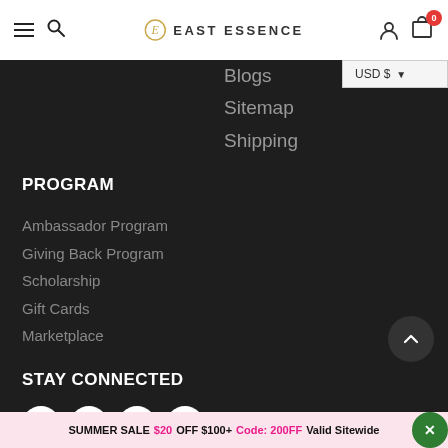East Essence — navigation header with hamburger menu, search, logo, user icon, cart (0)
Blogs
Sitemap
Shipping
PROGRAM
Ambassador Program
Giving Back Program
Scholarship
Gift Cards
Marketplace
STAY CONNECTED
[Figure (illustration): Social media icons: Facebook, Twitter, Instagram, Pinterest — white circles on dark background]
SUMMER SALE $20 OFF $100+ Code: 200FF Valid Sitewide